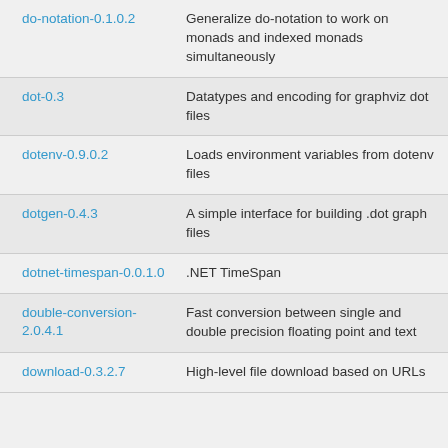| Package | Description |
| --- | --- |
| do-notation-0.1.0.2 | Generalize do-notation to work on monads and indexed monads simultaneously |
| dot-0.3 | Datatypes and encoding for graphviz dot files |
| dotenv-0.9.0.2 | Loads environment variables from dotenv files |
| dotgen-0.4.3 | A simple interface for building .dot graph files |
| dotnet-timespan-0.0.1.0 | .NET TimeSpan |
| double-conversion-2.0.4.1 | Fast conversion between single and double precision floating point and text |
| download-0.3.2.7 | High-level file download based on URLs |